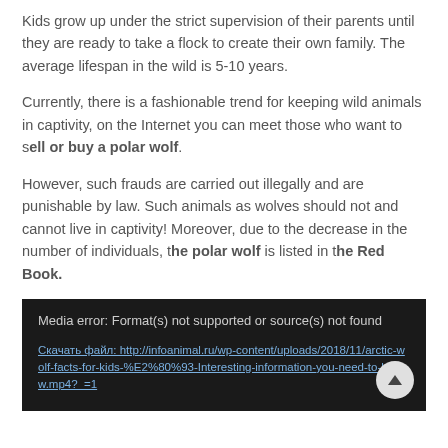Kids grow up under the strict supervision of their parents until they are ready to take a flock to create their own family. The average lifespan in the wild is 5-10 years.
Currently, there is a fashionable trend for keeping wild animals in captivity, on the Internet you can meet those who want to sell or buy a polar wolf.
However, such frauds are carried out illegally and are punishable by law. Such animals as wolves should not and cannot live in captivity! Moreover, due to the decrease in the number of individuals, the polar wolf is listed in the Red Book.
[Figure (screenshot): Media player error box with dark background showing 'Media error: Format(s) not supported or source(s) not found' and a download link to an arctic wolf mp4 video, with a scroll-to-top button in the bottom right corner.]